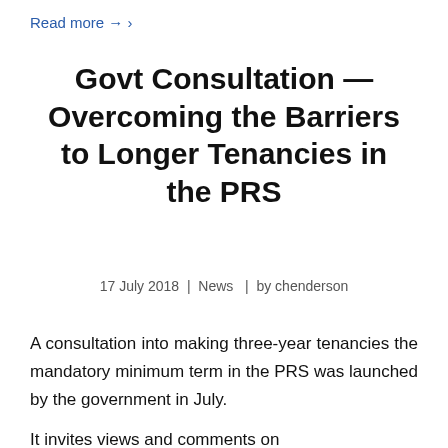Read more → ›
Govt Consultation — Overcoming the Barriers to Longer Tenancies in the PRS
17 July 2018 | News | by chenderson
A consultation into making three-year tenancies the mandatory minimum term in the PRS was launched by the government in July.
It invites views and comments on...